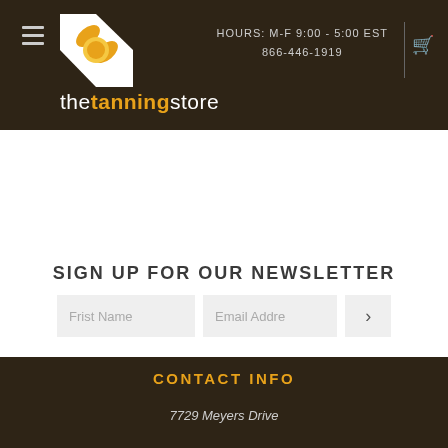thetanningstore — HOURS: M-F 9:00 - 5:00 EST  866-446-1919
SIGN UP FOR OUR NEWSLETTER
CONTACT INFO
7729 Meyers Drive